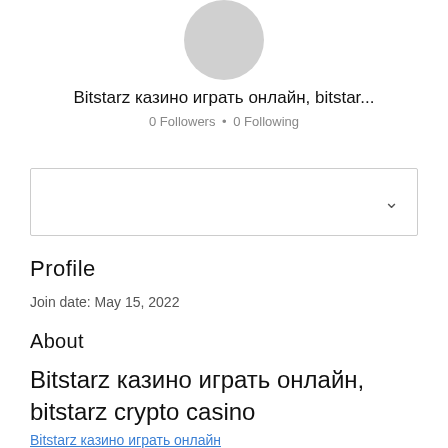[Figure (photo): Gray circular avatar placeholder]
Bitstarz казино играть онлайн, bitstar...
0 Followers • 0 Following
[Figure (other): Dropdown box with chevron arrow]
Profile
Join date: May 15, 2022
About
Bitstarz казино играть онлайн, bitstarz crypto casino
Bitstarz казино играть онлайн